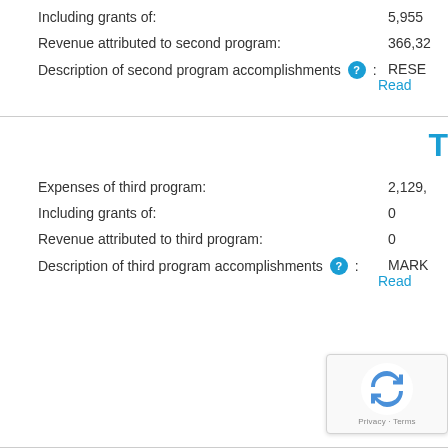Including grants of: 5,955
Revenue attributed to second program: 366,32
Description of second program accomplishments: RESE
Read
T
Expenses of third program: 2,129,
Including grants of: 0
Revenue attributed to third program: 0
Description of third program accomplishments: MARK
Read